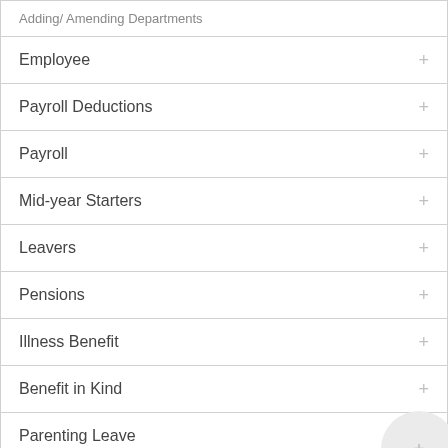Adding/ Amending Departments
Employee
Payroll Deductions
Payroll
Mid-year Starters
Leavers
Pensions
Illness Benefit
Benefit in Kind
Parenting Leave
Holidays